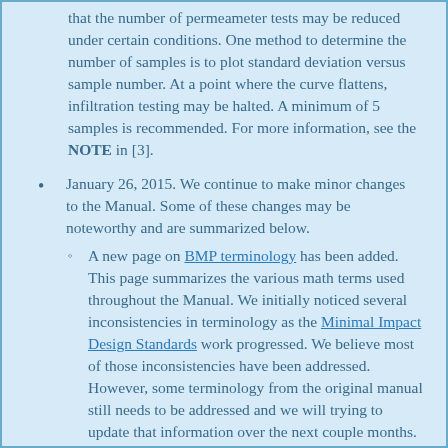that the number of permeameter tests may be reduced under certain conditions. One method to determine the number of samples is to plot standard deviation versus sample number. At a point where the curve flattens, infiltration testing may be halted. A minimum of 5 samples is recommended. For more information, see the NOTE in [3].
January 26, 2015. We continue to make minor changes to the Manual. Some of these changes may be noteworthy and are summarized below.
A new page on BMP terminology has been added. This page summarizes the various math terms used throughout the Manual. We initially noticed several inconsistencies in terminology as the Minimal Impact Design Standards work progressed. We believe most of those inconsistencies have been addressed. However, some terminology from the original manual still needs to be addressed and we will trying to update that information over the next couple months.
The Construction Stormwater permit requires